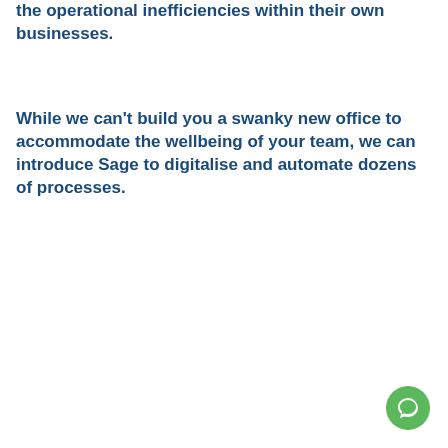the operational inefficiencies within their own businesses.
While we can't build you a swanky new office to accommodate the wellbeing of your team, we can introduce Sage to digitalise and automate dozens of processes.